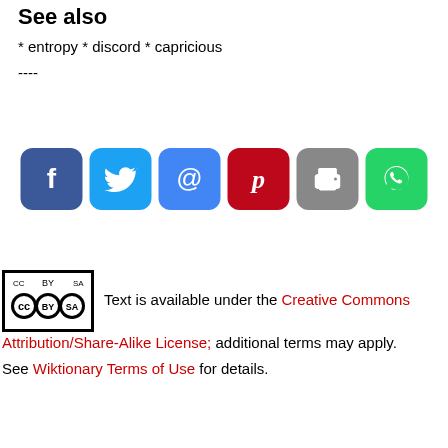See also
* entropy * discord * capricious
----
[Figure (infographic): Six social sharing icon buttons: Facebook (blue), Twitter (light blue), Email/@ (blue), Pinterest (red), Print (gray), WhatsApp (green)]
Text is available under the Creative Commons Attribution/Share-Alike License; additional terms may apply.
See Wiktionary Terms of Use for details.